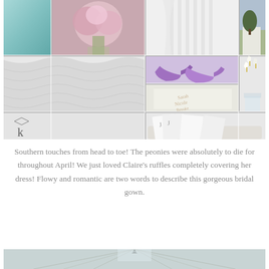[Figure (photo): Wedding photo collage showing multiple images: Tiffany blue accessories/ring box, pink peony bouquet, white wedding dress by window, venue exterior, dress detail with ruffle, purple high heel shoes, embroidered handkerchief, white floral arrangement with calla lilies, wedding programs in basket. Photographer logo 'k' visible in lower left.]
Southern touches from head to toe! The peonies were absolutely to die for throughout April! We just loved Claire's ruffles completely covering her dress! Flowy and romantic are two words to describe this gorgeous bridal gown.
[Figure (photo): Partial view of church interior showing wooden ceiling rafters and architectural details, cropped at top of frame.]